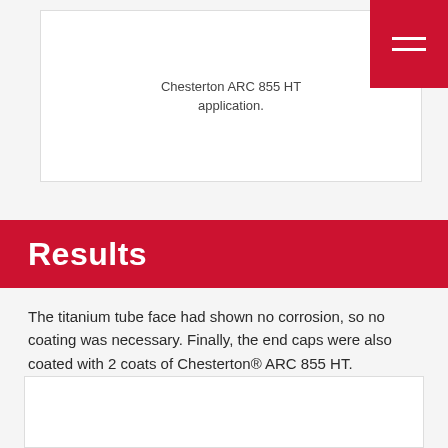Chesterton ARC 855 HT application.
Results
The titanium tube face had shown no corrosion, so no coating was necessary. Finally, the end caps were also coated with 2 coats of Chesterton® ARC 855 HT.
A four year warranty was given to insure them against product and application failure.
[Figure (photo): Bottom image placeholder card]